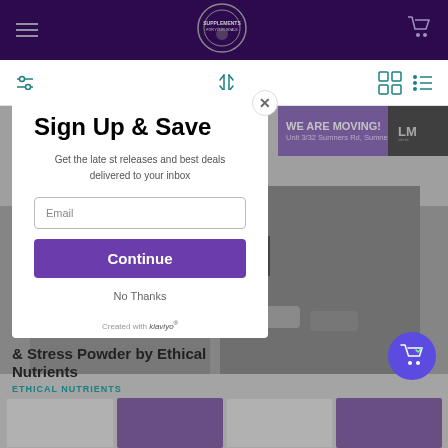[Figure (screenshot): Website header navigation bar with dark purple background, hamburger menu icon on left, supplements store logo in center, shopping cart icon on right]
[Figure (screenshot): Filter/sort bar with teal filter sliders icon, sort arrows, grid view icon, and list view icon]
[Figure (screenshot): Email sign-up modal popup with white background. Title 'Sign Up & Save', subtitle 'Get the latest releases and best deals delivered to your inbox', email input field, purple Continue button, and No Thanks link. Created with Klaviyo badge at bottom.]
Sign Up & Save
Get the latest releases and best deals delivered to your inbox
Continue
No Thanks
[Figure (photo): Store exterior photo in black and white showing a building with LM and purple hexagonal supplements store sign. Banner overlay reads WE ARE MOVING! Unit 3/32 Sumners Rd, Sumner]
WE ARE MOVING!
Unit 3/32 Sumners Rd, Sumner
& Stress Powder by Ethical Nutrients
ETHICAL NUTRIENTS